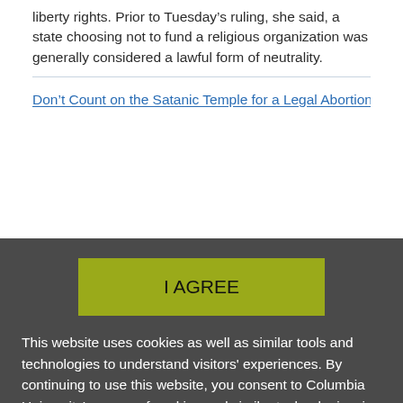liberty rights. Prior to Tuesday's ruling, she said, a state choosing not to fund a religious organization was generally considered a lawful form of neutrality.
Don't Count on the Satanic Temple for a Legal Abortion [external link]
I AGREE
This website uses cookies as well as similar tools and technologies to understand visitors' experiences. By continuing to use this website, you consent to Columbia University's usage of cookies and similar technologies, in accordance with the Columbia University Website Cookie Notice.